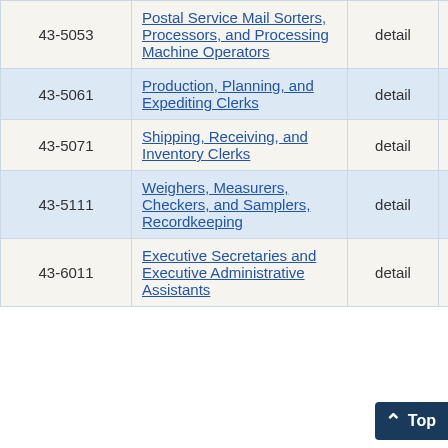| Code | Title | Level | Num |  |
| --- | --- | --- | --- | --- |
| 43-5053 | Postal Service Mail Sorters, Processors, and Processing Machine Operators | detail | 280 | 0 |
| 43-5061 | Production, Planning, and Expediting Clerks | detail | 380 | 9 |
| 43-5071 | Shipping, Receiving, and Inventory Clerks | detail | 1,700 | 5 |
| 43-5111 | Weighers, Measurers, Checkers, and Samplers, Recordkeeping | detail | 200 | 12 |
| 43-6011 | Executive Secretaries and Executive Administrative Assistants | detail | 310 | 5 |